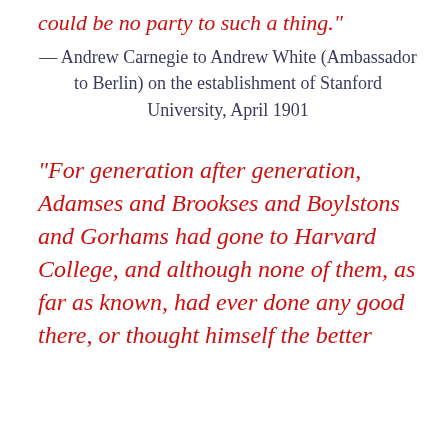could be no party to such a thing."
— Andrew Carnegie to Andrew White (Ambassador to Berlin) on the establishment of Stanford University, April 1901
"For generation after generation, Adamses and Brookses and Boylstons and Gorhams had gone to Harvard College, and although none of them, as far as known, had ever done any good there, or thought himself the better